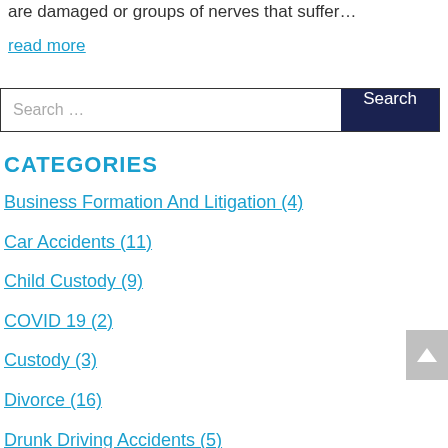are damaged or groups of nerves that suffer…
read more
Search …
CATEGORIES
Business Formation And Litigation (4)
Car Accidents (11)
Child Custody (9)
COVID 19 (2)
Custody (3)
Divorce (16)
Drunk Driving Accidents (5)
Estate Planning And Probate (5)